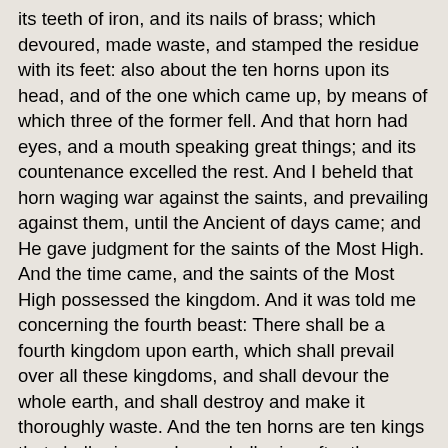its teeth of iron, and its nails of brass; which devoured, made waste, and stamped the residue with its feet: also about the ten horns upon its head, and of the one which came up, by means of which three of the former fell. And that horn had eyes, and a mouth speaking great things; and its countenance excelled the rest. And I beheld that horn waging war against the saints, and prevailing against them, until the Ancient of days came; and He gave judgment for the saints of the Most High. And the time came, and the saints of the Most High possessed the kingdom. And it was told me concerning the fourth beast: There shall be a fourth kingdom upon earth, which shall prevail over all these kingdoms, and shall devour the whole earth, and shall destroy and make it thoroughly waste. And the ten horns are ten kings that shall arise; and one shall arise after them; [2027] and he shall surpass the first in evil deeds, and he shall subdue three kings, and he shall speak words against the Most High, and shall overthrow the rest of the saints of the Most High, and shall expect to change the seasons and the times. And it shall be delivered into his hands for a time, and times, and half a time. And the judgment sat, and they shall take away his dominion, to consume and to destroy it unto the end. And the kingdom, and the power, and the great places of the kingdoms under the heavens, were given to the holy people of the Most High, to reign in an everlasting